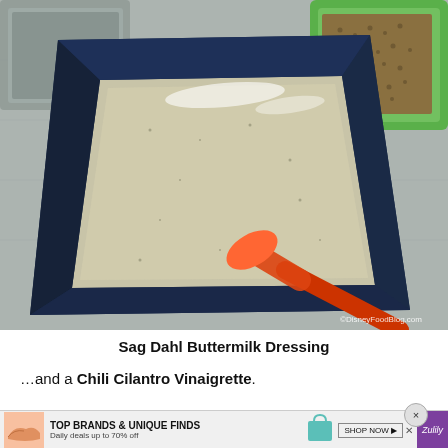[Figure (photo): A square dark navy blue baking pan or dish containing a pale gray-green creamy liquid (Sag Dahl Buttermilk Dressing), being spread with an orange silicone spatula. The pan sits on a stainless steel counter surface. In the upper right corner is a green tray with small seeds/lentils. A watermark reads ©DisneyFoodBlog.com.]
Sag Dahl Buttermilk Dressing
…and a Chili Cilantro Vinaigrette.
[Figure (photo): Partial view of a food photo (bottom portion cut off by advertisement overlay).]